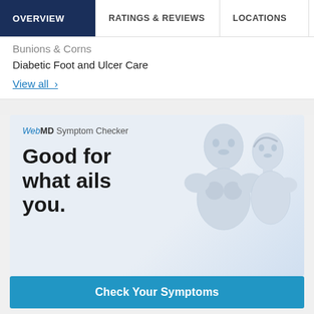OVERVIEW | RATINGS & REVIEWS | LOCATIONS | EX
Bunions & Corns
Diabetic Foot and Ulcer Care
View all >
[Figure (illustration): WebMD Symptom Checker advertisement with two white mannequin-like human figures (male and female), headline 'Good for what ails you.' and a 'Check Your Symptoms' button]
WebMD Symptom Checker - Good for what ails you. - Check Your Symptoms